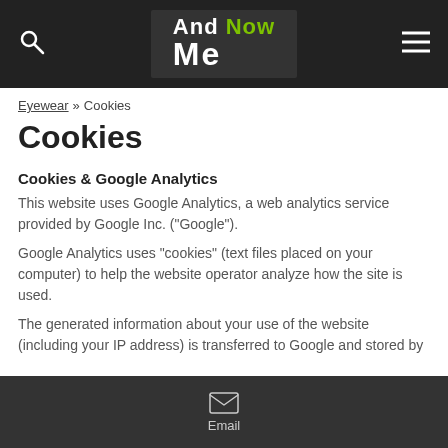And Now Me — navigation header with search and menu icons
Eyewear » Cookies
Cookies
Cookies & Google Analytics
This website uses Google Analytics, a web analytics service provided by Google Inc. ("Google").
Google Analytics uses "cookies" (text files placed on your computer) to help the website operator analyze how the site is used.
The generated information about your use of the website (including your IP address) is transferred to Google and stored by them on servers in the United States.
Google uses this information to keep track of how you use the
Email